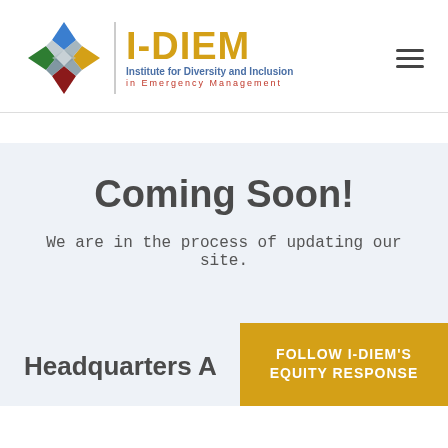[Figure (logo): I-DIEM logo with colorful geometric star icon and text: I-DIEM, Institute for Diversity and Inclusion in Emergency Management]
Coming Soon!
We are in the process of updating our site.
Headquarters A
FOLLOW I-DIEM'S EQUITY RESPONSE